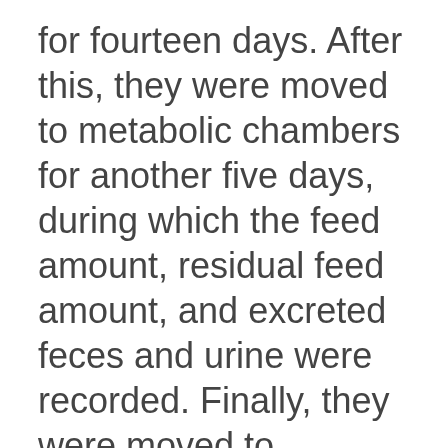for fourteen days. After this, they were moved to metabolic chambers for another five days, during which the feed amount, residual feed amount, and excreted feces and urine were recorded. Finally, they were moved to separate, indirect open-circuit respiration calorimeter